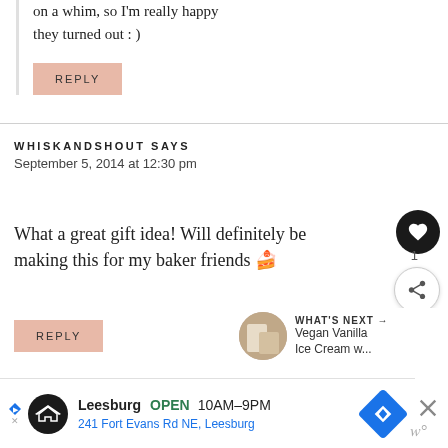on a whim, so I'm really happy they turned out : )
REPLY
WHISKANDSHOUT SAYS
September 5, 2014 at 12:30 pm
What a great gift idea! Will definitely be making this for my baker friends 🍰
REPLY
WHAT'S NEXT → Vegan Vanilla Ice Cream w...
Leesburg OPEN 10AM-9PM 241 Fort Evans Rd NE, Leesburg